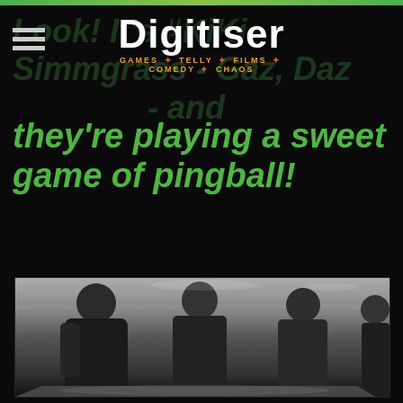Digitiser — GAMES · TELLY · FILMS · COMEDY · CHAOS
Look! It's #KiKi Simmgrass - Gaz, Daz - and they're playing a sweet game of pingball!
[Figure (photo): Black and white photograph of three young men with 1970s-style hair standing around a pinball machine in what appears to be an arcade.]